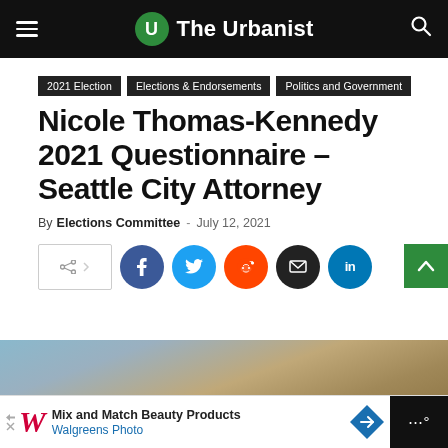The Urbanist
2021 Election
Elections & Endorsements
Politics and Government
Nicole Thomas-Kennedy 2021 Questionnaire – Seattle City Attorney
By Elections Committee - July 12, 2021
[Figure (screenshot): Social share bar with Facebook, Twitter, Reddit, Email, LinkedIn buttons]
[Figure (photo): Partial photo of a person outdoors, blurred background of building]
[Figure (infographic): Advertisement banner: Mix and Match Beauty Products - Walgreens Photo]